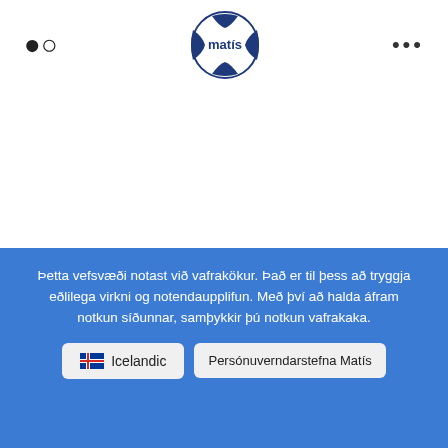[Figure (logo): Matís logo - circular blue segmented ball shape with 'matís' text in the center]
SKÝRSLUR
Nýsköpun smáframleiðendur
Þetta vefsvæði notast við vafrakökur. Það er til þess að tryggja eðlilega virkni og notendaupplifun. Með því að halda áfram notkun síðunnar, samþykkir þú notkun vafrakaka.
Icelandic
Persónuverndarstefna Matís